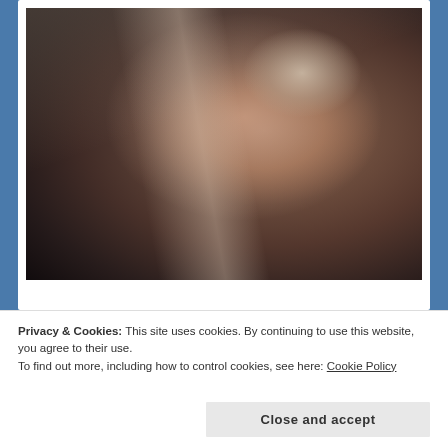[Figure (photo): A newborn baby wearing a beige/cream knit hat being held or swaddled, with an adult's hands visible. The image has dramatic lighting with light streaks across the scene. Warm skin tones against darker background.]
WHO WILL SPEAK FOR EUROPE
Privacy & Cookies: This site uses cookies. By continuing to use this website, you agree to their use.
To find out more, including how to control cookies, see here: Cookie Policy
Close and accept